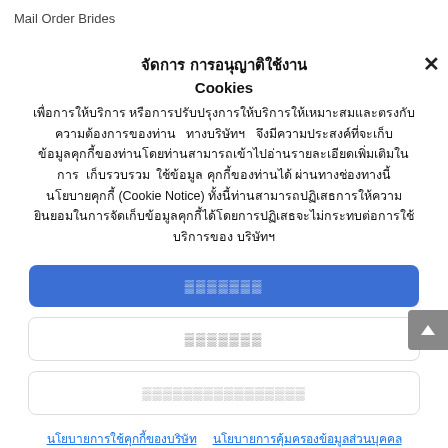Mail Order Brides
จัดการ การอนุญาติใช้งาน Cookies
เพื่อการให้บริการ หรือการปรับปรุงการให้บริการให้เหมาะสมและตรงกับความต้องการของท่าน ทางบริษัทฯ จึงมีความประสงค์ที่จะเก็บข้อมูลคุกกี้ของท่านโดยท่านสามารถเข้าไปอ่านรายละเอียดเพิ่มเติมในการ เก็บรวบรวม ใช้ข้อมูล คุกกี้ของท่านได้ ผ่านทางช่องทางนี้ นโยบายคุกกี้ (Cookie Notice) ทั้งนี้ท่านสามารถปฏิเสธการให้ความยินยอมในการจัดเก็บข้อมูลคุกกี้ได้โดยการปฏิเสธจะไม่กระทบต่อการใช้บริการของ บริษัทฯ
ยินยอม
ปฏิเสธ
ตั้งค่าการใช้คุกกี้
นโยบายการใช้คุกกี้ของบริษัท  นโยบายการคุ้มครองข้อมูลส่วนบุคคล